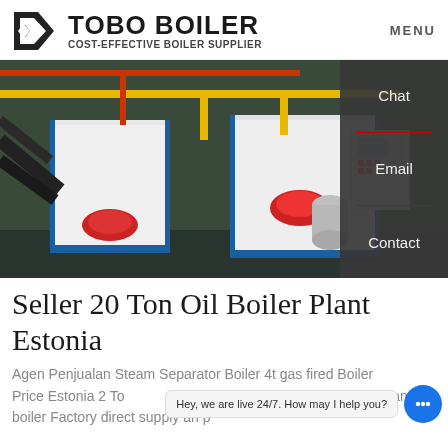TOBO BOILER — COST-EFFECTIVE BOILER SUPPLIER | MENU
[Figure (photo): Industrial boiler room showing large white boiler units with red caps, yellow and black piping, blue frames, and control panels mounted on walls.]
Seller 20 Ton Oil Boiler Plant Estonia
Agen Penjualan Steam Separator Boiler 4t gas fired Boiler Price Estonia 2 To 1.25-All henan yuanda boiler Factory direct supply an p